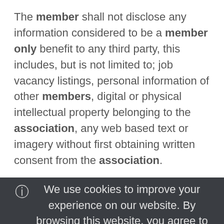The member shall not disclose any information considered to be a member only benefit to any third party, this includes, but is not limited to; job vacancy listings, personal information of other members, digital or physical intellectual property belonging to the association, any web based text or imagery without first obtaining written consent from the association.
6) Obligations & Material Facts
The member shall provide to the association.
1. all information ... ay affect enrolment to the association, which may
We use cookies to improve your experience on our website. By browsing this website, you agree to our use of cookies.